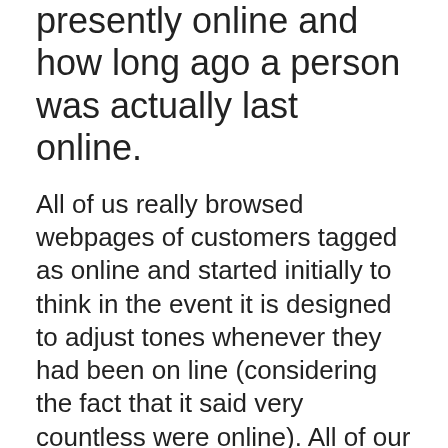presently online and how long ago a person was actually last online.
All of us really browsed webpages of customers tagged as online and started initially to think in the event it is designed to adjust tones whenever they had been on line (considering the fact that it said very countless were online). All of our experts ultimately obtained to a participant having said that they were actually on the net one hour before.
What does this suggest? This implies there are in fact A LOT OF participants proactively on line. Our team are actually a whole lot more than content; our very own specialists